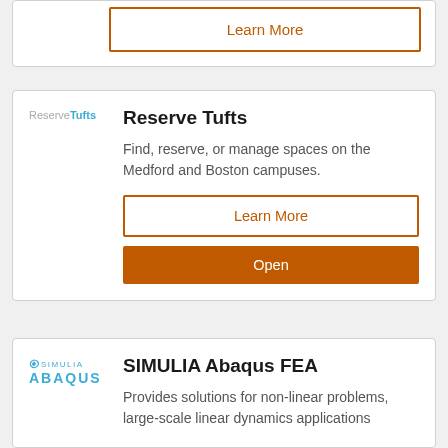[Figure (logo): Learn More button (orange outlined) from a partial card at the top of the page]
[Figure (logo): ReserveTufts logo — 'Reserve' in gray, 'Tufts' in blue]
Reserve Tufts
Find, reserve, or manage spaces on the Medford and Boston campuses.
Learn More
Open
[Figure (logo): SIMULIA Abaqus logo — stylized icon with 'SIMULIA' and 'ABAQUS' in teal/blue]
SIMULIA Abaqus FEA
Provides solutions for non-linear problems, large-scale linear dynamics applications